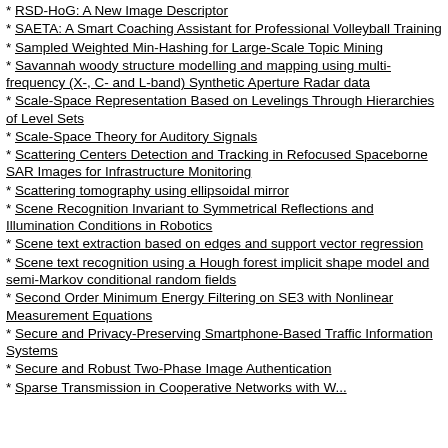RSD-HoG: A New Image Descriptor
SAETA: A Smart Coaching Assistant for Professional Volleyball Training
Sampled Weighted Min-Hashing for Large-Scale Topic Mining
Savannah woody structure modelling and mapping using multi-frequency (X-, C- and L-band) Synthetic Aperture Radar data
Scale-Space Representation Based on Levelings Through Hierarchies of Level Sets
Scale-Space Theory for Auditory Signals
Scattering Centers Detection and Tracking in Refocused Spaceborne SAR Images for Infrastructure Monitoring
Scattering tomography using ellipsoidal mirror
Scene Recognition Invariant to Symmetrical Reflections and Illumination Conditions in Robotics
Scene text extraction based on edges and support vector regression
Scene text recognition using a Hough forest implicit shape model and semi-Markov conditional random fields
Second Order Minimum Energy Filtering on SE3 with Nonlinear Measurement Equations
Secure and Privacy-Preserving Smartphone-Based Traffic Information Systems
Secure and Robust Two-Phase Image Authentication
Sparse Transmission in Cooperative Networks with Work...